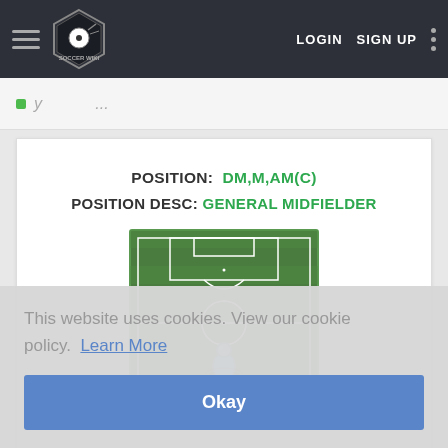Soccer Wiki — LOGIN  SIGN UP
POSITION: DM,M,AM(C)
POSITION DESC: GENERAL MIDFIELDER
[Figure (illustration): A top-down view of a soccer/football pitch with a blue player token positioned in the central midfield area, slightly below center.]
This website uses cookies. View our cookie policy. Learn More
Okay